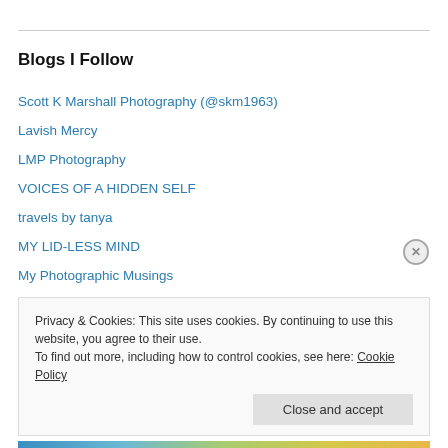Blogs I Follow
Scott K Marshall Photography (@skm1963)
Lavish Mercy
LMP Photography
VOICES OF A HIDDEN SELF
travels by tanya
MY LID-LESS MIND
My Photographic Musings
Stefan Travels
POINT BLANK
Privacy & Cookies: This site uses cookies. By continuing to use this website, you agree to their use.
To find out more, including how to control cookies, see here: Cookie Policy
Close and accept